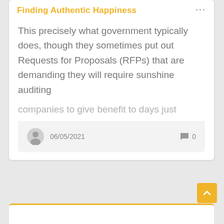Finding Authentic Happiness
This precisely what government typically does, though they sometimes put out Requests for Proposals (RFPs) that are demanding they will require sunshine auditing companies to give benefit to days just
06/05/2021  0